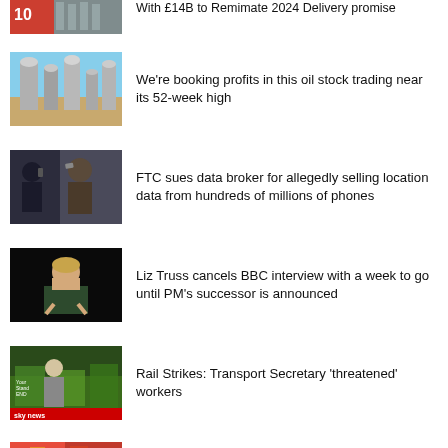[Figure (photo): Partial news thumbnail at top, orange/red tones]
With £14B to Remimate 2024 Delivery promise (partial, cropped)
[Figure (photo): Industrial tanks/silos at an oil facility under blue sky]
We're booking profits in this oil stock trading near its 52-week high
[Figure (photo): People in a crowd, person on phone, urban setting]
FTC sues data broker for allegedly selling location data from hundreds of millions of phones
[Figure (photo): Liz Truss speaking, dark background]
Liz Truss cancels BBC interview with a week to go until PM's successor is announced
[Figure (photo): Rail strike protest, man in grey suit in front of green banners, Sky News lower third]
Rail Strikes: Transport Secretary 'threatened' workers
[Figure (photo): Partial thumbnail at bottom, red/coloured tones]
Tapper: Republicans take credit for bills they (cropped)